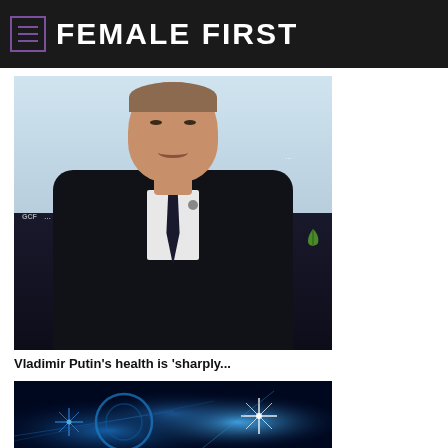FEMALE FIRST
[Figure (photo): Vladimir Putin in dark suit with tie, smiling at a formal event with blue backdrop]
Vladimir Putin's health is 'sharply...
[Figure (photo): Blue glowing technology/entertainment stage lighting with starburst light effects]